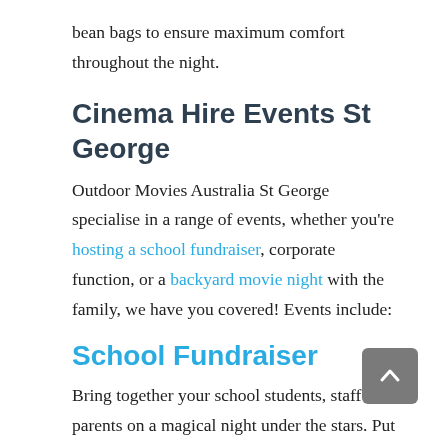bean bags to ensure maximum comfort throughout the night.
Cinema Hire Events St George
Outdoor Movies Australia St George specialise in a range of events, whether you’re hosting a school fundraiser, corporate function, or a backyard movie night with the family, we have you covered! Events include:
School Fundraiser
Bring together your school students, staff and parents on a magical night under the stars. Put on